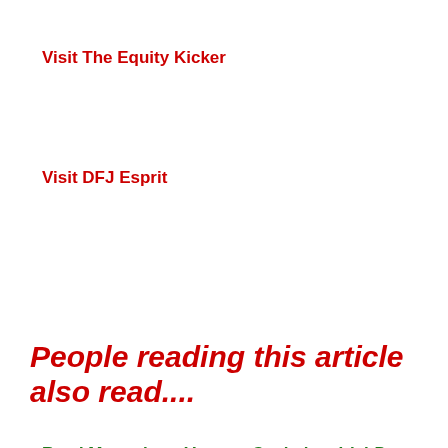Visit The Equity Kicker
Visit DFJ Esprit
People reading this article also read....
Read More about Venture Capital on IrishDev.com
Read More about DFJ Esprit on IrishDev.com